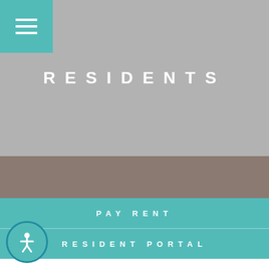[Figure (screenshot): Teal/turquoise hamburger menu button in top-left corner]
RESIDENTS
PAY RENT
RESIDENT PORTAL
[Figure (illustration): Accessibility icon - person in circle, teal background]